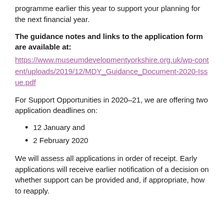programme earlier this year to support your planning for the next financial year.
The guidance notes and links to the application form are available at:
https://www.museumdevelopmentyorkshire.org.uk/wp-content/uploads/2019/12/MDY_Guidance_Document-2020-Issue.pdf
For Support Opportunities in 2020–21, we are offering two application deadlines on:
12 January and
2 February 2020
We will assess all applications in order of receipt. Early applications will receive earlier notification of a decision on whether support can be provided and, if appropriate, how to reapply.